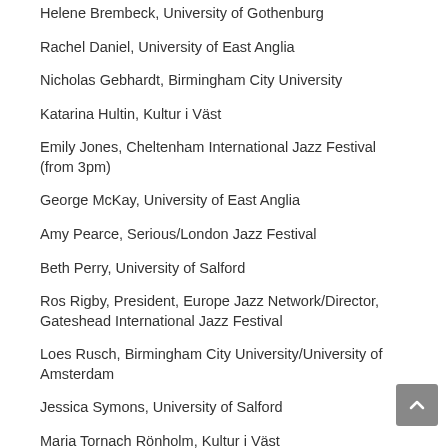Helene Brembeck, University of Gothenburg
Rachel Daniel, University of East Anglia
Nicholas Gebhardt, Birmingham City University
Katarina Hultin, Kultur i Väst
Emily Jones, Cheltenham International Jazz Festival (from 3pm)
George McKay, University of East Anglia
Amy Pearce, Serious/London Jazz Festival
Beth Perry, University of Salford
Ros Rigby, President, Europe Jazz Network/Director, Gateshead International Jazz Festival
Loes Rusch, Birmingham City University/University of Amsterdam
Jessica Symons, University of Salford
Maria Tornach Rönholm, Kultur i Väst